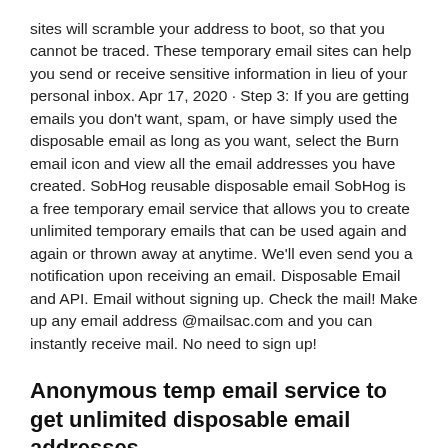sites will scramble your address to boot, so that you cannot be traced. These temporary email sites can help you send or receive sensitive information in lieu of your personal inbox. Apr 17, 2020 · Step 3: If you are getting emails you don't want, spam, or have simply used the disposable email as long as you want, select the Burn email icon and view all the email addresses you have created. SobHog reusable disposable email SobHog is a free temporary email service that allows you to create unlimited temporary emails that can be used again and again or thrown away at anytime. We'll even send you a notification upon receiving an email. Disposable Email and API. Email without signing up. Check the mail! Make up any email address @mailsac.com and you can instantly receive mail. No need to sign up!
Anonymous temp email service to get unlimited disposable email addresses